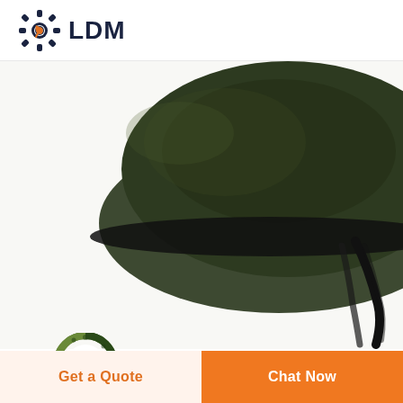[Figure (logo): LDM logo with gear icon in dark navy and orange, text LDM in bold dark navy]
[Figure (photo): Close-up photo of a dark olive/military green hat or beret with black straps, photographed from below against a white background]
[Figure (logo): Circular logo with letter D in red, surrounded by concentric camouflage-patterned rings in green]
Get a Quote
Chat Now